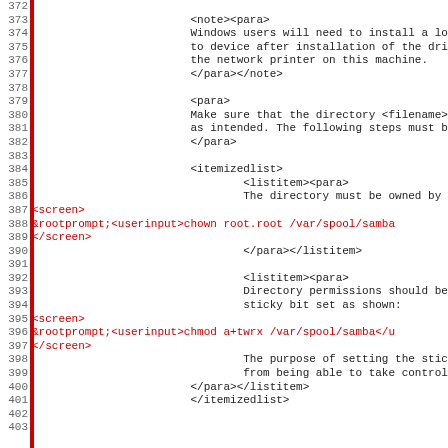Source code listing lines 372-403 showing XML/DocBook markup content including notes, paragraphs, itemized lists, and screen elements with userinput tags.